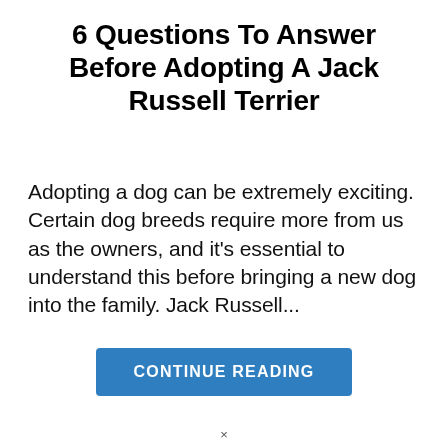6 Questions To Answer Before Adopting A Jack Russell Terrier
Adopting a dog can be extremely exciting. Certain dog breeds require more from us as the owners, and it's essential to understand this before bringing a new dog into the family. Jack Russell...
CONTINUE READING
×